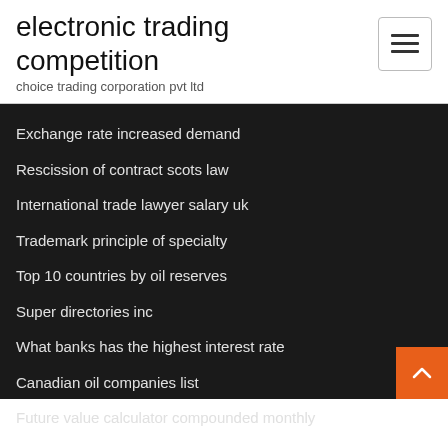electronic trading competition
choice trading corporation pvt ltd
Exchange rate increased demand
Rescission of contract scots law
International trade lawyer salary uk
Trademark principle of specialty
Top 10 countries by oil reserves
Super directories inc
What banks has the highest interest rate
Canadian oil companies list
Future value calculator compounded monthly
International trade investment book